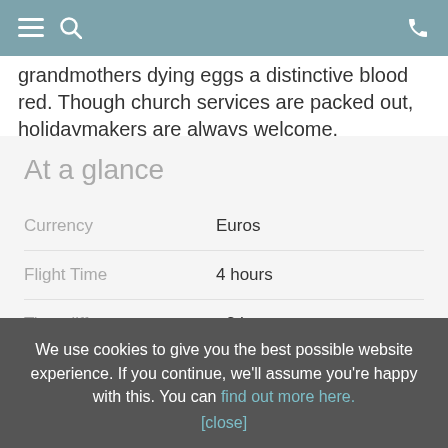Navigation header with menu, search, and phone icons
grandmothers dying eggs a distinctive blood red. Though church services are packed out, holidaymakers are always welcome.
At a glance
|  |  |
| --- | --- |
| Currency | Euros |
| Flight Time | 4 hours |
| Time difference | +2 hours |
| Language | Greek |
We use cookies to give you the best possible website experience. If you continue, we'll assume you're happy with this. You can find out more here. [close]